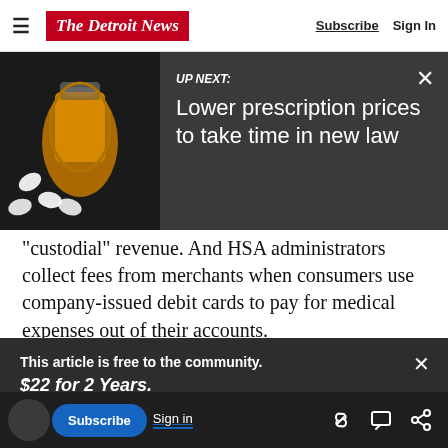The Detroit News — Subscribe   Sign In
[Figure (screenshot): UP NEXT: Lower prescription prices to take time in new law — banner with pill bottle image on dark background]
“custodial” revenue. And HSA administrators collect fees from merchants when consumers use company-issued debit cards to pay for medical expenses out of their accounts.
At HealthEquity, the second-largest HSA provider
This article is free to the community. $22 for 2 Years. Subscribe now
companies can also earn fees from mutual funds
workplace, some employers cover some or all of